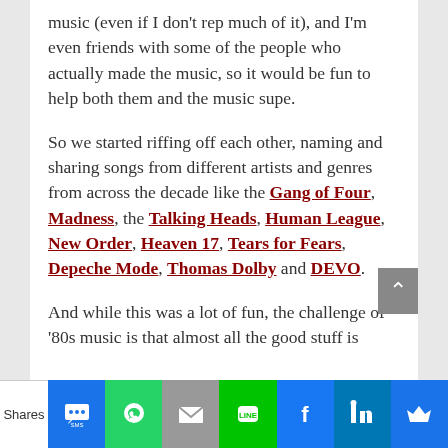music (even if I don't rep much of it), and I'm even friends with some of the people who actually made the music, so it would be fun to help both them and the music supe.
So we started riffing off each other, naming and sharing songs from different artists and genres from across the decade like the Gang of Four, Madness, the Talking Heads, Human League, New Order, Heaven 17, Tears for Fears, Depeche Mode, Thomas Dolby and DEVO.
And while this was a lot of fun, the challenge of '80s music is that almost all the good stuff is